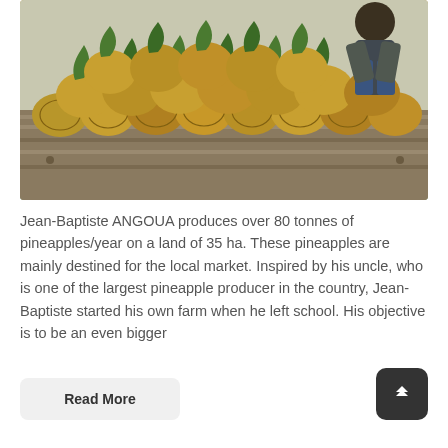[Figure (photo): A truck bed loaded with pineapples, a person crouched on top of the pile in the background, photographed outdoors.]
Jean-Baptiste ANGOUA produces over 80 tonnes of pineapples/year on a land of 35 ha. These pineapples are mainly destined for the local market. Inspired by his uncle, who is one of the largest pineapple producer in the country, Jean-Baptiste started his own farm when he left school. His objective is to be an even bigger